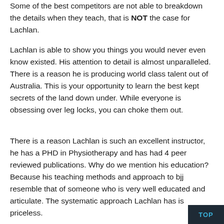Some of the best competitors are not able to breakdown the details when they teach, that is NOT the case for Lachlan.
Lachlan is able to show you things you would never even know existed. His attention to detail is almost unparalleled. There is a reason he is producing world class talent out of Australia. This is your opportunity to learn the best kept secrets of the land down under. While everyone is obsessing over leg locks, you can choke them out.
There is a reason Lachlan is such an excellent instructor, he has a PHD in Physiotherapy and has had 4 peer reviewed publications. Why do we mention his education? Because his teaching methods and approach to bjj resemble that of someone who is very well educated and articulate. The systematic approach Lachlan has is priceless.